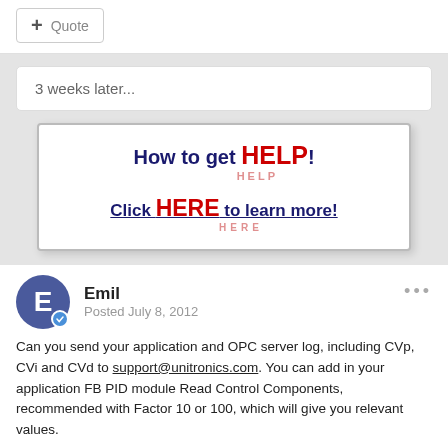+ Quote
3 weeks later...
[Figure (infographic): Banner image with text: 'How to get HELP!' and 'Click HERE to learn more!']
Emil
Posted July 8, 2012
Can you send your application and OPC server log, including CVp, CVi and CVd to support@unitronics.com. You can add in your application FB PID module Read Control Components, recommended with Factor 10 or 100, which will give you relevant values.
BTW - why you set CV range 50 - 350? Is the full opening time of thhe